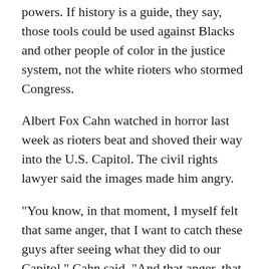powers. If history is a guide, they say, those tools could be used against Blacks and other people of color in the justice system, not the white rioters who stormed Congress.
Albert Fox Cahn watched in horror last week as rioters beat and shoved their way into the U.S. Capitol. The civil rights lawyer said the images made him angry.
"You know, in that moment, I myself felt that same anger, that I want to catch these guys after seeing what they did to our Capitol," Cahn said. "And that anger, that frustration, that desire for justice, can lead us to very dangerous places."
Cahn is executive director of the Surveillance Technology Oversight Project, a group that fights what he calls invasive surveillance technologies. Those include tools like facial